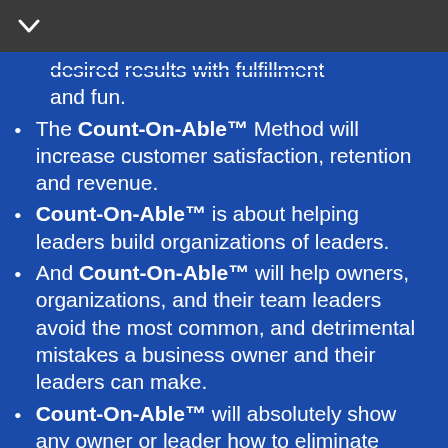desired results with fulfillment and fun.
The Count-On-Able™ Method will increase customer satisfaction, retention and revenue.
Count-On-Able™ is about helping leaders build organizations of leaders.
And Count-On-Able™ will help owners, organizations, and their team leaders avoid the most common, and detrimental mistakes a business owner and their leaders can make.
Count-On-Able™ will absolutely show any owner or leader how to eliminate misalignment and build trust within the culture and